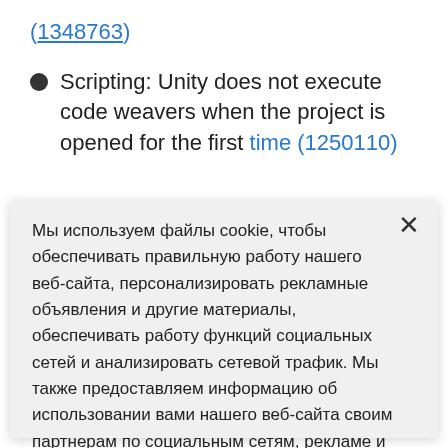(1348763)
Scripting: Unity does not execute code weavers when the project is opened for the first time (1250110)
Мы используем файлы cookie, чтобы обеспечивать правильную работу нашего веб-сайта, персонализировать рекламные объявления и другие материалы, обеспечивать работу функций социальных сетей и анализировать сетевой трафик. Мы также предоставляем информацию об использовании вами нашего веб-сайта своим партнерам по социальным сетям, рекламе и аналитическим системам.
Настройки файлов cookie
Согласиться с использованием всех файлов cookie